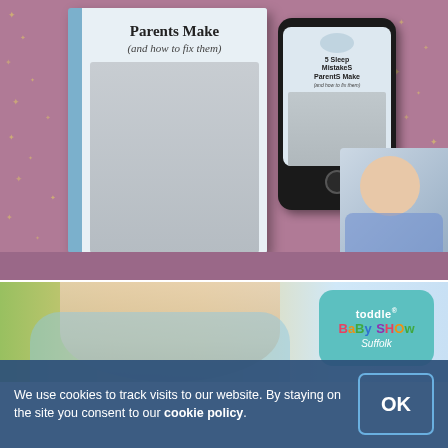[Figure (illustration): Promotional image showing a book and phone mockup titled '5 Sleep Mistakes Parents Make (and how to fix them)' with a baby sleeping on the cover, and a woman smiling in the corner. Purple/mauve background with gold stars.]
[Figure (photo): Photo of a baby wrapped in a blue towel looking upward, with a 'toddle Baby Show Suffolk' logo in the top right corner.]
We use cookies to track visits to our website. By staying on the site you consent to our cookie policy.